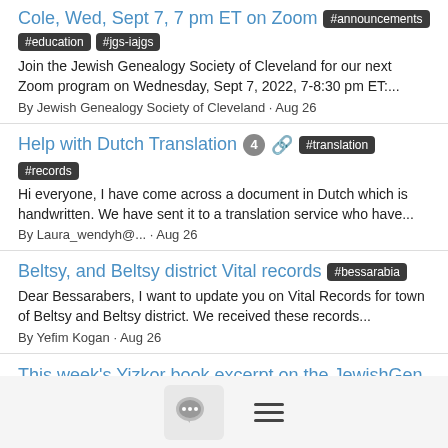Cole, Wed, Sept 7, 7 pm ET on Zoom #announcements
#education #jgs-iajgs
Join the Jewish Genealogy Society of Cleveland for our next Zoom program on Wednesday, Sept 7, 2022, 7-8:30 pm ET:...
By Jewish Genealogy Society of Cleveland · Aug 26
Help with Dutch Translation [4] [clip] #translation #records
Hi everyone, I have come across a document in Dutch which is handwritten. We have sent it to a translation service who have...
By Laura_wendyh@... · Aug 26
Beltsy, and Beltsy district Vital records #bessarabia
Dear Bessarabers, I want to update you on Vital Records for town of Beltsy and Beltsy district. We received these records...
By Yefim Kogan · Aug 26
This week's Yizkor book excerpt on the JewishGen Facebook page #yizkorbooks #ukraine #JewishGenUpdates
This week's Yizkor book selection is an excerpt from a chapter